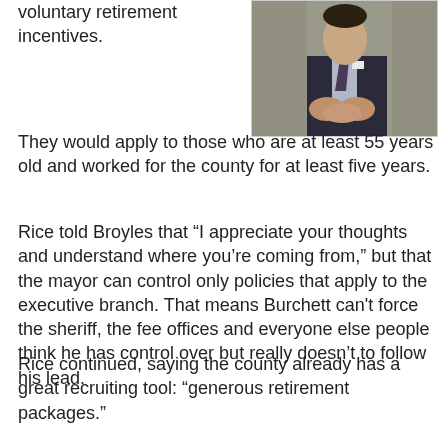voluntary retirement incentives.
[Figure (photo): A man in a suit with hands clasped, photographed from the side/front in a formal setting.]
They would apply to those who are at least 55 years old and worked for the county for at least five years.
Rice told Broyles that “I appreciate your thoughts and understand where you’re coming from,” but that the mayor can control only policies that apply to the executive branch. That means Burchett can't force the sheriff, the fee offices and everyone else people think he has control over but really doesn’t to follow his lead.
Rice continued, saying the county already has a great recruiting tool: “generous retirement packages.”
(No, by the way, that is not the same as a severance package. Heh.)
Broyles looked sharply at Rice. Then said: “Yes, he is setting a policy, Dean, and it’s a bad one.”